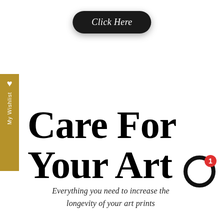[Figure (other): Dark rounded pill-shaped button with text 'Click Here' in white italic serif font]
[Figure (other): Gold/tan vertical sidebar tab labeled 'My Wishlist' with a white heart icon at top, text rotated vertically]
Care For Your Art
Everything you need to increase the longevity of your art prints
[Figure (other): Notification badge: black circle outline with red circle badge showing number 1]